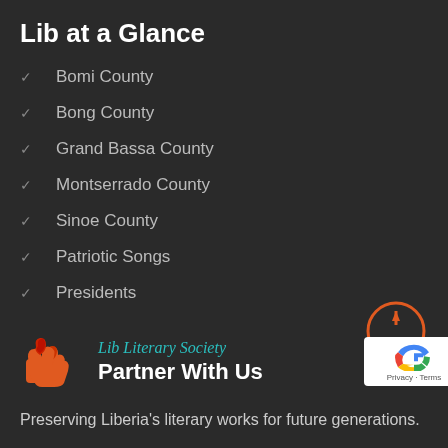Lib at a Glance
Bomi County
Bong County
Grand Bassa County
Montserrado County
Sinoe County
Patriotic Songs
Presidents
Lib Literary Society
Partner With Us
Preserving Liberia's literary works for future generations.